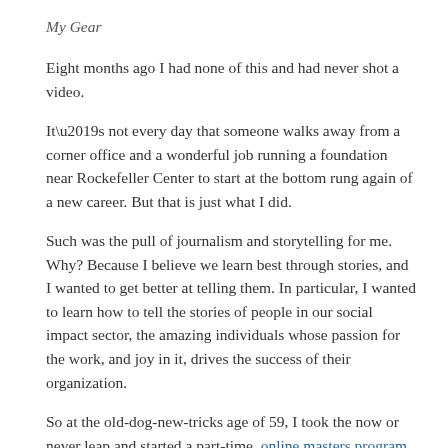My Gear
Eight months ago I had none of this and had never shot a video.
It’s not every day that someone walks away from a corner office and a wonderful job running a foundation near Rockefeller Center to start at the bottom rung again of a new career. But that is just what I did.
Such was the pull of journalism and storytelling for me. Why? Because I believe we learn best through stories, and I wanted to get better at telling them. In particular, I wanted to learn how to tell the stories of people in our social impact sector, the amazing individuals whose passion for the work, and joy in it, drives the success of their organization.
So at the old-dog-new-tricks age of 59, I took the now or never leap and started a part-time, online masters program in Digital Journalism and Design through the University of Southern Florida’s St. Peter’s Assist…